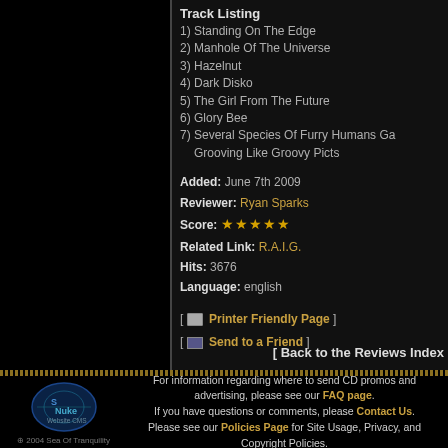Track Listing
1) Standing On The Edge
2) Manhole Of The Universe
3) Hazelnut
4) Dark Disko
5) The Girl From The Future
6) Glory Bee
7) Several Species Of Furry Humans Ga Grooving Like Groovy Picts
Added: June 7th 2009
Reviewer: Ryan Sparks
Score: ★★★★★
Related Link: R.A.I.G.
Hits: 3676
Language: english
[ Printer Friendly Page ]
[ Send to a Friend ]
[ Back to the Reviews Index
For information regarding where to send CD promos and advertising, please see our FAQ page. If you have questions or comments, please Contact Us. Please see our Policies Page for Site Usage, Privacy, and Copyright Policies.